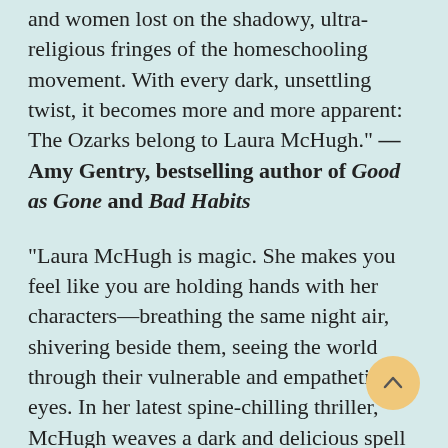and women lost on the shadowy, ultra-religious fringes of the homeschooling movement. With every dark, unsettling twist, it becomes more and more apparent: The Ozarks belong to Laura McHugh." —Amy Gentry, bestselling author of Good as Gone and Bad Habits
"Laura McHugh is magic. She makes you feel like you are holding hands with her characters—breathing the same night air, shivering beside them, seeing the world through their vulnerable and empathetic eyes. In her latest spine-chilling thriller, McHugh weaves a dark and delicious spell as Sarah travels from the terror of a mystery in her childhood to the redemptive side of the mountain. Seamless, expressive writing, a voice like a crystal clear lake, an intimate sense of place, and storytelling that keeps the pages spinning make this a